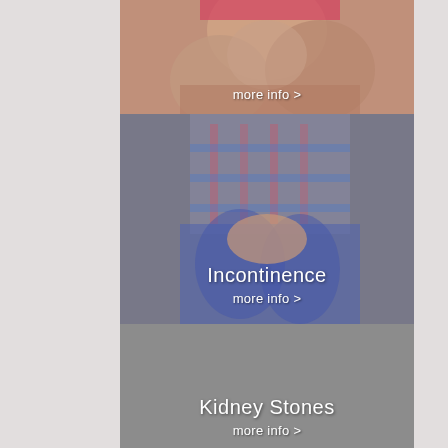[Figure (photo): Partial view of a person holding their lower abdomen area, wearing gray shorts. Text overlay shows 'more info >' in white.]
[Figure (photo): Person wearing a plaid shirt and jeans holding their pelvic area. Text overlay shows 'Incontinence' and 'more info >' in white.]
[Figure (photo): Gray/muted image representing Kidney Stones topic. Text overlay shows 'Kidney Stones' and 'more info >' in white.]